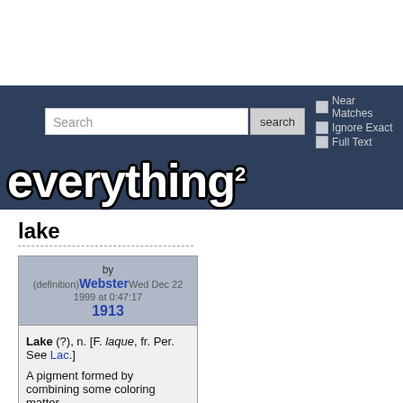[Figure (screenshot): Everything2 website header with search bar and logo]
lake
| by (definition)Webster1913 | Wed Dec 22 1999 at 0:47:17 |
| --- | --- |
Lake (?), n. [F. laque, fr. Per. See Lac.] A pigment formed by combining some coloring matter,